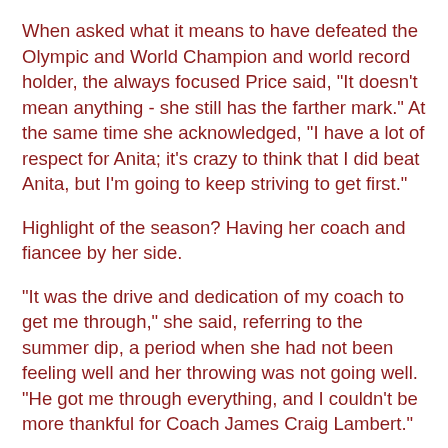When asked what it means to have defeated the Olympic and World Champion and world record holder, the always focused Price said, "It doesn't mean anything - she still has the farther mark." At the same time she acknowledged, "I have a lot of respect for Anita; it's crazy to think that I did beat Anita, but I'm going to keep striving to get first."
Highlight of the season? Having her coach and fiancee by her side.
"It was the drive and dedication of my coach to get me through," she said, referring to the summer dip, a period when she had not been feeling well and her throwing was not going well. "He got me through everything, and I couldn't be more thankful for Coach James Craig Lambert."
Their wedding is in October.